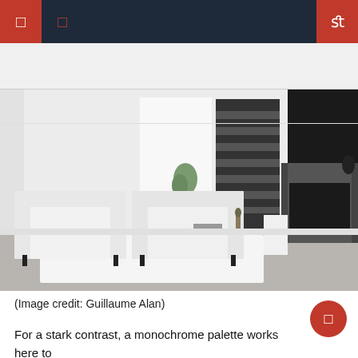[Figure (photo): Minimalist monochrome living room with two white boxy armchairs, a dark marble fireplace with a large black rectangular artwork above it, striped dark door panel, white walls, and a plant in the corner. White rug on concrete floor.]
(Image credit: Guillaume Alan)
For a stark contrast, a monochrome palette works here to